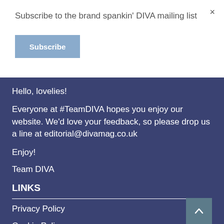Subscribe to the brand spankin' DIVA mailing list
Subscribe
×
Hello, lovelies!
Everyone at #TeamDIVA hopes you enjoy our website. We'd love your feedback, so please drop us a line at editorial@divamag.co.uk
Enjoy!
Team DIVA
LINKS
Privacy Policy
Cookie Policy